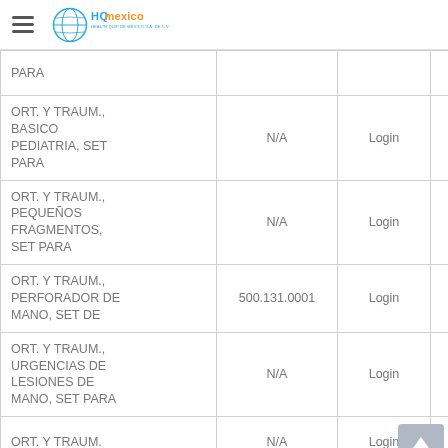HQ Mexico - Health Quip de México S.A. de C.V.
| Product | Code | Login | Action |
| --- | --- | --- | --- |
| PARA |  |  |  |
| ORT. Y TRAUM., BASICO PEDIATRIA, SET PARA | N/A | Login | i |
| ORT. Y TRAUM., PEQUEÑOS FRAGMENTOS, SET PARA | N/A | Login | i |
| ORT. Y TRAUM., PERFORADOR DE MANO, SET DE | 500.131.0001 | Login | i |
| ORT. Y TRAUM., URGENCIAS DE LESIONES DE MANO, SET PARA | N/A | Login | i |
| ORT. Y TRAUM. | N/A | Login | i |